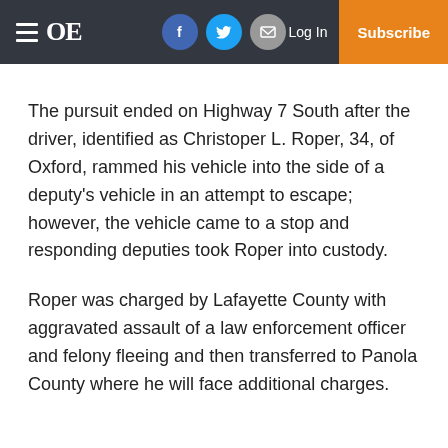OE — Log In | Subscribe
The pursuit ended on Highway 7 South after the driver, identified as Christoper L. Roper, 34, of Oxford, rammed his vehicle into the side of a deputy's vehicle in an attempt to escape; however, the vehicle came to a stop and responding deputies took Roper into custody.
Roper was charged by Lafayette County with aggravated assault of a law enforcement officer and felony fleeing and then transferred to Panola County where he will face additional charges.